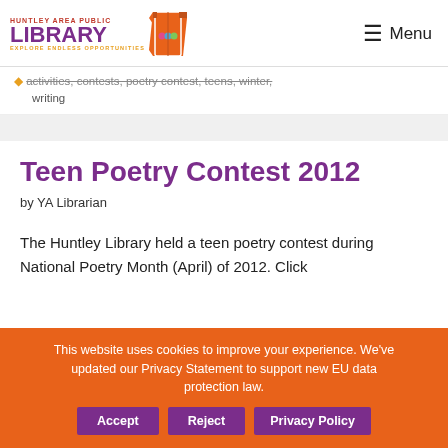HUNTLEY AREA PUBLIC LIBRARY — Menu
activities, contests, poetry contest, teens, winter, writing
Teen Poetry Contest 2012
by YA Librarian
The Huntley Library held a teen poetry contest during National Poetry Month (April) of 2012. Click
This website uses cookies to improve your experience. We've updated our Privacy Statement to support new EU data protection law. Accept Reject Privacy Policy